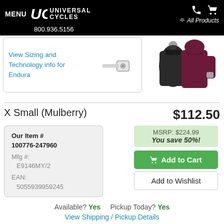MENU | UC UNIVERSAL CYCLES | 800.936.5156 | All Products
View Sizing and Technology info for Endura
[Figure (photo): A burgundy/mulberry women's cycling jacket shown front and back on a mannequin form, with a tape measure shown to the left]
X Small (Mulberry)
$112.50
MSRP: $224.99
You save 50%!
| Our Item # | 100776-247960 |
| Mfg #: | E9146MY/2 |
| EAN: | 5055939959245 |
Available? Yes   Pickup Today? Yes
View Shipping / Pickup Details